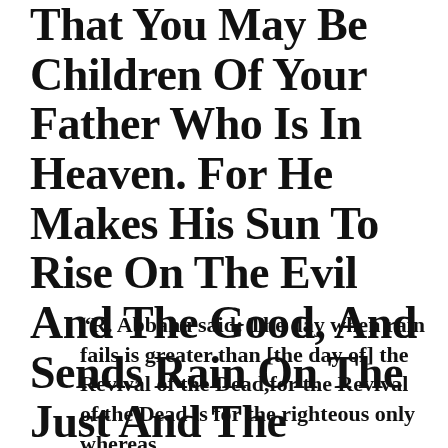That You May Be Children Of Your Father Who Is In Heaven. For He Makes His Sun To Rise On The Evil And The Good, And Sends Rain On The Just And The Unjust.
“R. Abbahu said: The day when rain fails is greater than [the day of] the Revival of the Dead,for the Revival of the Dead is for the righteous only whereas